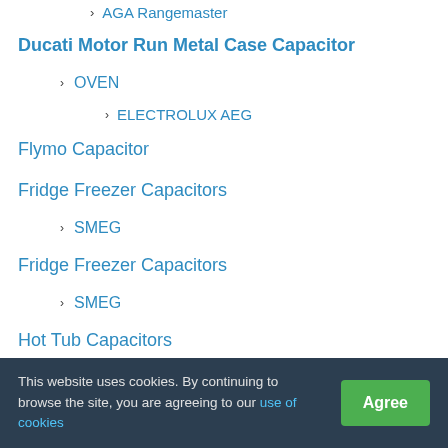› AGA Rangemaster
Ducati Motor Run Metal Case Capacitor
OVEN
› ELECTROLUX AEG
Flymo Capacitor
Fridge Freezer Capacitors
› SMEG
Fridge Freezer Capacitors
› SMEG
Hot Tub Capacitors
Hotpoint Indesit Ariston Creda Cannon
Icar Ecofill Capacitor Tag Spade
This website uses cookies. By continuing to browse the site, you are agreeing to our use of cookies